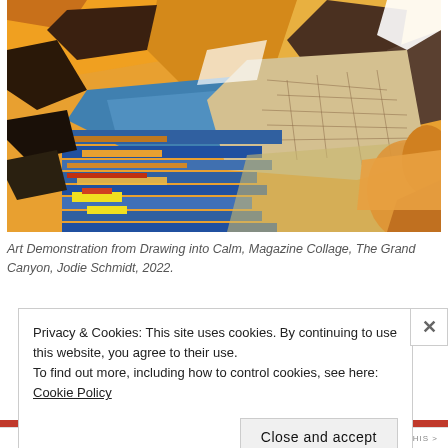[Figure (illustration): A colorful magazine collage artwork depicting The Grand Canyon, with torn paper pieces in orange, blue, yellow, brown, and tan tones arranged to suggest canyon landscape.]
Art Demonstration from Drawing into Calm, Magazine Collage, The Grand Canyon, Jodie Schmidt, 2022.
Privacy & Cookies: This site uses cookies. By continuing to use this website, you agree to their use.
To find out more, including how to control cookies, see here: Cookie Policy
Close and accept